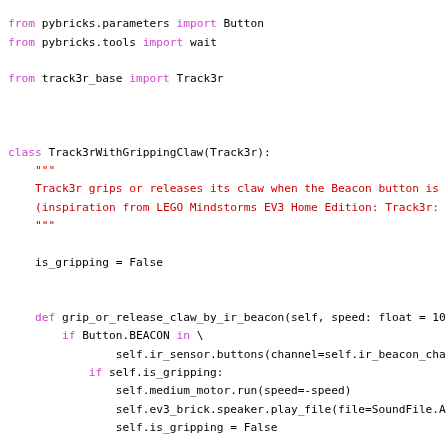[Figure (screenshot): Python source code snippet showing class Track3rWithGrippingClaw(Track3r) with methods and imports from pybricks and track3r_base modules]